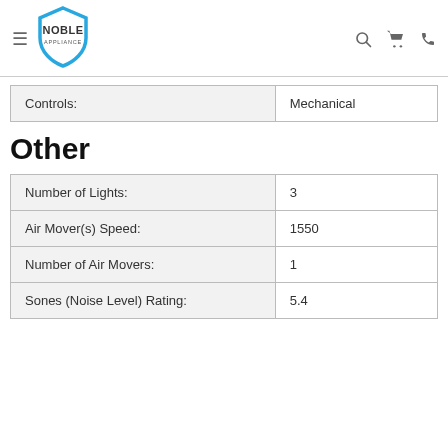Noble Appliance
| Controls: | Mechanical |
| --- | --- |
| Controls: | Mechanical |
Other
| Specification | Value |
| --- | --- |
| Number of Lights: | 3 |
| Air Mover(s) Speed: | 1550 |
| Number of Air Movers: | 1 |
| Sones (Noise Level) Rating: | 5.4 |